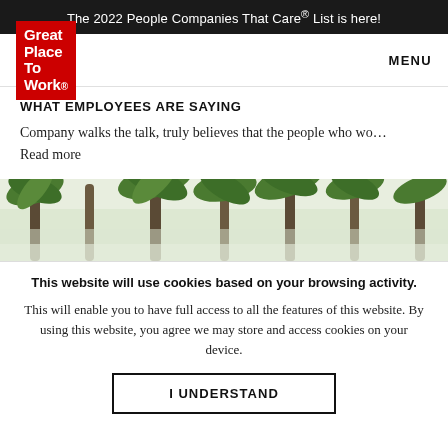The 2022 People Companies That Care® List is here!
[Figure (logo): Great Place To Work logo — white text on red background, plus MENU navigation link]
WHAT EMPLOYEES ARE SAYING
Company walks the talk, truly believes that the people who wo…
Read more
[Figure (photo): Panoramic photo of tall palm trees with green fronds against a bright sky]
This website will use cookies based on your browsing activity.
This will enable you to have full access to all the features of this website. By using this website, you agree we may store and access cookies on your device.
I UNDERSTAND